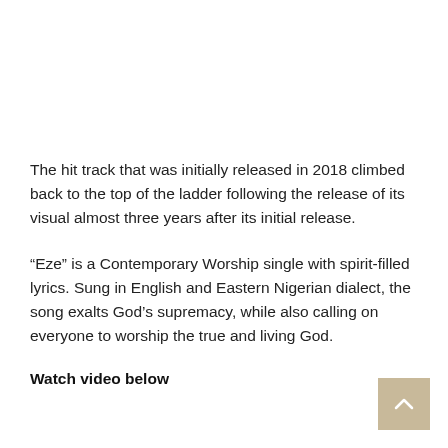The hit track that was initially released in 2018 climbed back to the top of the ladder following the release of its visual almost three years after its initial release.
“Eze” is a Contemporary Worship single with spirit-filled lyrics. Sung in English and Eastern Nigerian dialect, the song exalts God’s supremacy, while also calling on everyone to worship the true and living God.
Watch video below